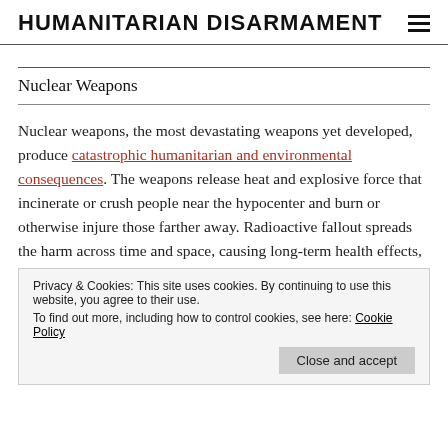HUMANITARIAN DISARMAMENT
Nuclear Weapons
Nuclear weapons, the most devastating weapons yet developed, produce catastrophic humanitarian and environmental consequences. The weapons release heat and explosive force that incinerate or crush people near the hypocenter and burn or otherwise injure those farther away. Radioactive fallout spreads the harm across time and space, causing long-term health effects, such as cancer and other diseases. Nuclear weapons contaminate the environment, impede development, and displace communities. About 70 years after the dropping of the first atomic bomb, the International Campaign to Abolish Nuclear Weapons (ICAN), the International Red Cross and
Privacy & Cookies: This site uses cookies. By continuing to use this website, you agree to their use. To find out more, including how to control cookies, see here: Cookie Policy